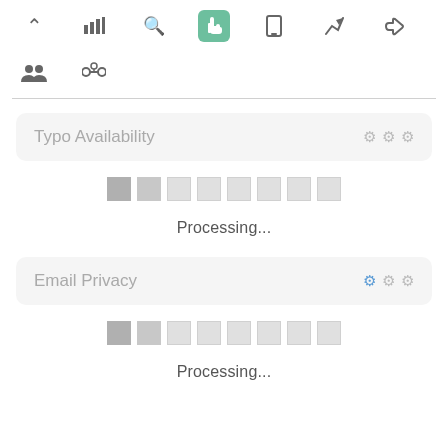[Figure (screenshot): Navigation toolbar with icons: chevron up, bar chart, search, hand pointer (active/green), mobile phone, rocket/send, thumbs up]
[Figure (screenshot): Secondary toolbar with two icons: group of people, chain links]
Typo Availability
[Figure (infographic): Progress indicator with 8 squares: first two darker gray, rest lighter gray]
Processing...
Email Privacy
[Figure (infographic): Progress indicator with 8 squares: first two darker gray, rest lighter gray]
Processing...